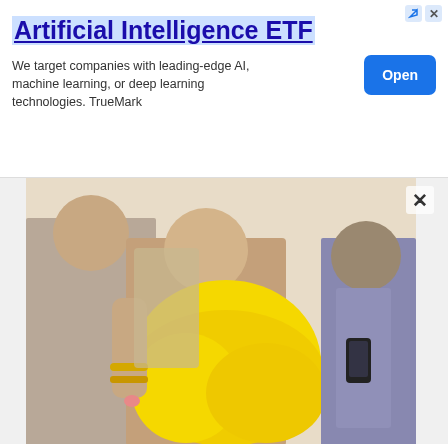[Figure (infographic): Advertisement banner for Artificial Intelligence ETF with blue title text, descriptive text, and an Open button in blue]
[Figure (photo): Photo of Eddy Kenzo and Pia Pounds; a woman in a yellow ruffled dress being embraced, with another person in a purple outfit in the background]
Eddy Kenzo and Pia Pounds
Rema fans reached to the extent of attacking them on their social media pages, accusing the two songstresses of wrecking ‘Siri Muyembe’ singer’s marriage.